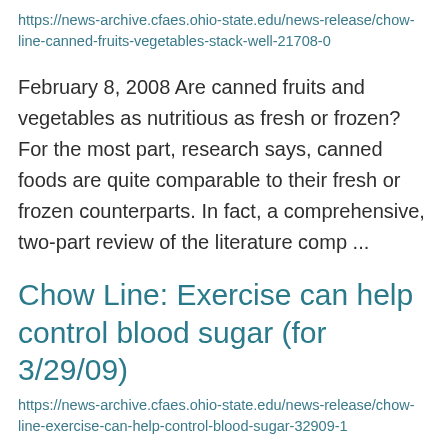https://news-archive.cfaes.ohio-state.edu/news-release/chow-line-canned-fruits-vegetables-stack-well-21708-0
February 8, 2008 Are canned fruits and vegetables as nutritious as fresh or frozen? For the most part, research says, canned foods are quite comparable to their fresh or frozen counterparts. In fact, a comprehensive, two-part review of the literature comp ...
Chow Line: Exercise can help control blood sugar (for 3/29/09)
https://news-archive.cfaes.ohio-state.edu/news-release/chow-line-exercise-can-help-control-blood-sugar-32909-1
March 29, 2009 Is diet alone enough to...